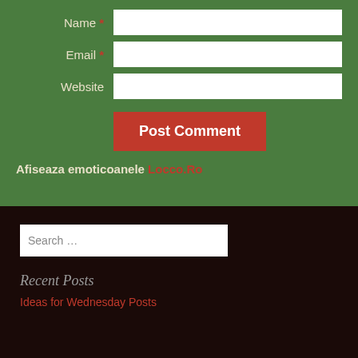Name *
Email *
Website
Post Comment
Afiseaza emoticoanele Locco.Ro
Search …
Recent Posts
Ideas for Wednesday Posts